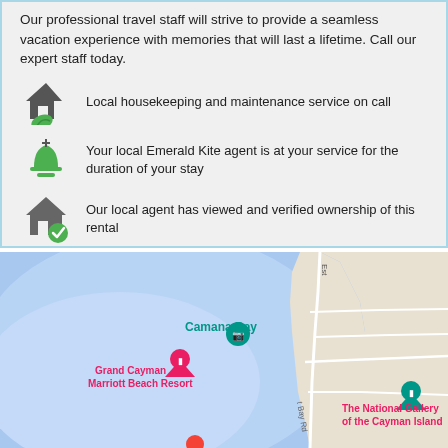Our professional travel staff will strive to provide a seamless vacation experience with memories that will last a lifetime. Call our expert staff today.
Local housekeeping and maintenance service on call
Your local Emerald Kite agent is at your service for the duration of your stay
Our local agent has viewed and verified ownership of this rental
[Figure (map): Google Maps view showing Camana Bay, Grand Cayman Marriott Beach Resort, and The National Gallery of the Cayman Islands along the coast.]